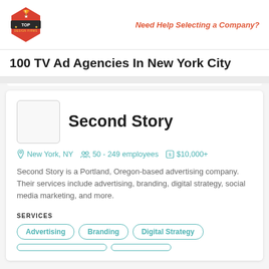Top Design Firms | Need Help Selecting a Company?
100 TV Ad Agencies In New York City
Second Story
New York, NY   50 - 249 employees   $10,000+
Second Story is a Portland, Oregon-based advertising company. Their services include advertising, branding, digital strategy, social media marketing, and more.
SERVICES
Advertising
Branding
Digital Strategy